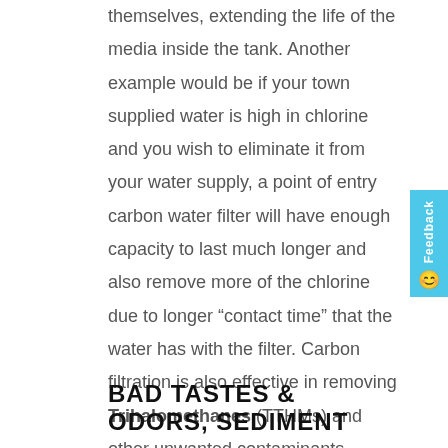themselves, extending the life of the media inside the tank. Another example would be if your town supplied water is high in chlorine and you wish to eliminate it from your water supply, a point of entry carbon water filter will have enough capacity to last much longer and also remove more of the chlorine due to longer “contact time” that the water has with the filter. Carbon filtration is also effective in removing Trihalomethanes (TTHMs) and other unwanted contaminants.
BAD TASTES & ODORS, SEDIMENT